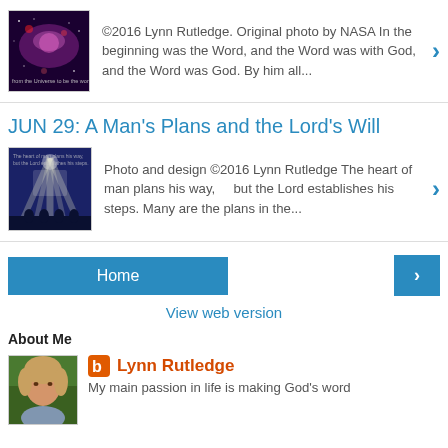[Figure (illustration): Thumbnail image of a purple/pink nebula with text overlay about the universe and God's word]
©2016 Lynn Rutledge. Original photo by NASA In the beginning was the Word, and the Word was with God, and the Word was God. By him all...
JUN 29: A Man's Plans and the Lord's Will
[Figure (photo): Thumbnail image with people and beams of light, text overlay: The heart of man plans his way, but the Lord establishes his steps]
Photo and design ©2016 Lynn Rutledge The heart of man plans his way,     but the Lord establishes his steps. Many are the plans in the...
Home
View web version
About Me
[Figure (photo): Profile photo of a woman with blonde hair outdoors]
Lynn Rutledge
My main passion in life is making God's word